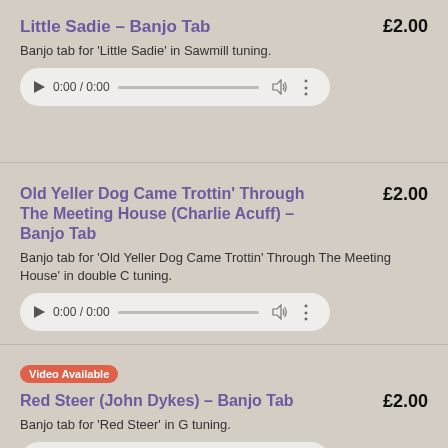Little Sadie – Banjo Tab
£2.00
Banjo tab for 'Little Sadie' in Sawmill tuning.
[Figure (other): Audio player widget showing 0:00 / 0:00 with play button, progress bar, volume and more icons]
Old Yeller Dog Came Trottin' Through The Meeting House (Charlie Acuff) – Banjo Tab
£2.00
Banjo tab for 'Old Yeller Dog Came Trottin' Through The Meeting House' in double C tuning.
[Figure (other): Audio player widget showing 0:00 / 0:00 with play button, progress bar, volume and more icons]
Video Available
Red Steer (John Dykes) – Banjo Tab
£2.00
Banjo tab for 'Red Steer' in G tuning.
[Figure (other): Audio player widget showing 0:00 / 0:00 with play button, progress bar, volume and more icons (partially visible)]